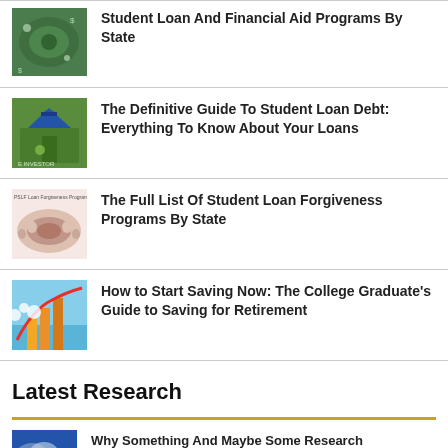Student Loan And Financial Aid Programs By State
The Definitive Guide To Student Loan Debt: Everything To Know About Your Loans
The Full List Of Student Loan Forgiveness Programs By State
How to Start Saving Now: The College Graduate's Guide to Saving for Retirement
Latest Research
Why Something And Maybe Some Research